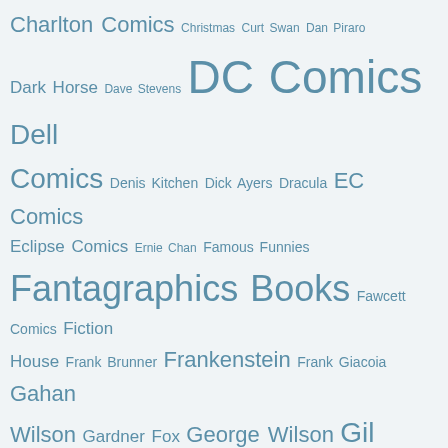[Figure (infographic): A tag cloud of comic book publishers, artists, and characters. Terms appear in varying font sizes indicating frequency/importance. All terms are rendered in a muted steel blue color on a light gray-blue background. Terms include: Charlton Comics, Christmas, Curt Swan, Dan Piraro, Dark Horse, Dave Stevens, DC Comics, Dell Comics, Denis Kitchen, Dick Ayers, Dracula, EC Comics, Eclipse Comics, Ernie Chan, Famous Funnies, Fantagraphics Books, Fawcett Comics, Fiction House, Frank Brunner, Frankenstein, Frank Giacoia, Gahan Wilson, Gardner Fox, George Wilson, Gil Kane, Gold Key, H. G. Peter, H. P. Lovecraft, Harvey Comics, Harvey Kurtzman, Hilary Barta, House of Mystery, Jack Cole, Jack Davis, Jack Kirby, Jay Lynch, Jerry Grandenetti, Jim Aparo, Joe Gill, Joe Kubert, Joe Orlando, John Celardo, John Severin, John Stanley, Jonah Hex, Jughead, Ken Kelly, Kitchen Sink Press, Kurt Schaffenberger, Last Gasp, Lee Elias, Luis Dominguez, Mad Magazine, Mark Schultz, Marvel Comics]